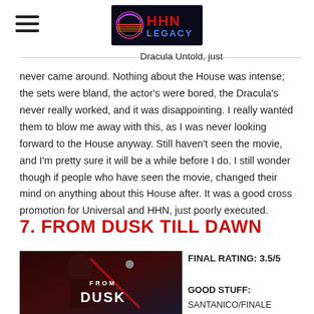[Figure (logo): HHN Legacy logo with retro neon style graphic and hamburger menu icon]
Dracula Untold, just never came around. Nothing about the House was intense; the sets were bland, the actor's were bored, the Dracula's never really worked, and it was disappointing. I really wanted them to blow me away with this, as I was never looking forward to the House anyway. Still haven't seen the movie, and I'm pretty sure it will be a while before I do. I still wonder though if people who have seen the movie, changed their mind on anything about this House after. It was a good cross promotion for Universal and HHN, just poorly executed.
7. FROM DUSK TILL DAWN
[Figure (photo): Movie promotional image for From Dusk Till Dawn showing a horror figure with the movie title text]
FINAL RATING: 3.5/5
GOOD STUFF:
SANTANICO/FINALE